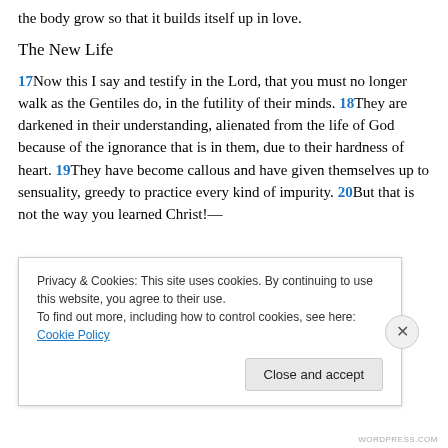the body grow so that it builds itself up in love.
The New Life
17Now this I say and testify in the Lord, that you must no longer walk as the Gentiles do, in the futility of their minds. 18They are darkened in their understanding, alienated from the life of God because of the ignorance that is in them, due to their hardness of heart. 19They have become callous and have given themselves up to sensuality, greedy to practice every kind of impurity. 20But that is not the way you learned Christ!—
Privacy & Cookies: This site uses cookies. By continuing to use this website, you agree to their use.
To find out more, including how to control cookies, see here: Cookie Policy
Close and accept